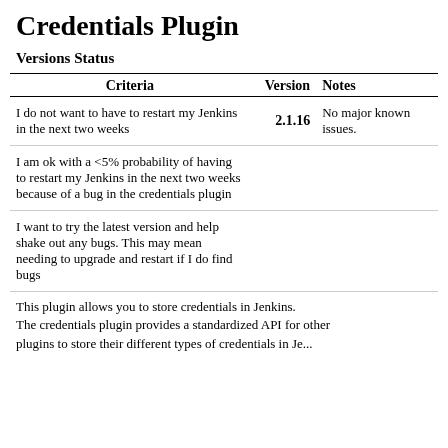Credentials Plugin
Versions Status
| Criteria | Version | Notes |
| --- | --- | --- |
| I do not want to have to restart my Jenkins in the next two weeks | 2.1.16 | No major known issues. |
| I am ok with a <5% probability of having to restart my Jenkins in the next two weeks because of a bug in the credentials plugin |  |  |
| I want to try the latest version and help shake out any bugs. This may mean needing to upgrade and restart if I do find bugs |  |  |
This plugin allows you to store credentials in Jenkins. The credentials plugin provides a standardized API for other plugins to store their different types of credentials in Je...